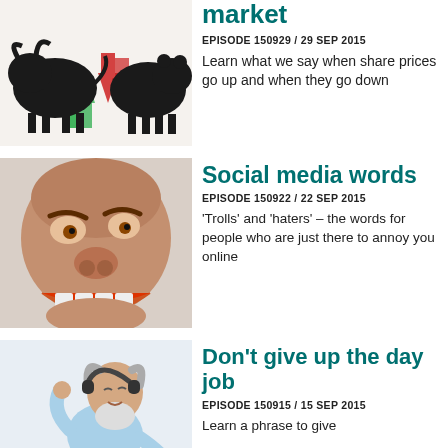[Figure (illustration): Bull and bear stock market illustration with red and green arrows]
market
EPISODE 150929 / 29 SEP 2015
Learn what we say when share prices go up and when they go down
[Figure (photo): Internet troll face meme 3D render - exaggerated grinning face]
Social media words
EPISODE 150922 / 22 SEP 2015
'Trolls' and 'haters' – the words for people who are just there to annoy you online
[Figure (photo): Elderly man with white beard and headphones dancing joyfully]
Don't give up the day job
EPISODE 150915 / 15 SEP 2015
Learn a phrase to give